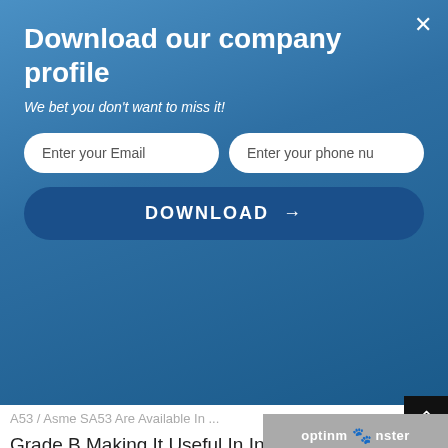Download our company profile
We bet you don't want to miss it!
Enter  your Email | Enter your phone number
DOWNLOAD →
A53 / Asme SA53 Are Available In ...
Grade B Making It Useful In Industries Requiring High Pressure. We Can Manufacture A53 seamless pipe In Any Size & Wall Thickness Required By Our Clients. Electric Resistance Welded SA53 Pipe Distributor & Trader In United States Of America.
ASTM A53 Pipes Specifications PDF